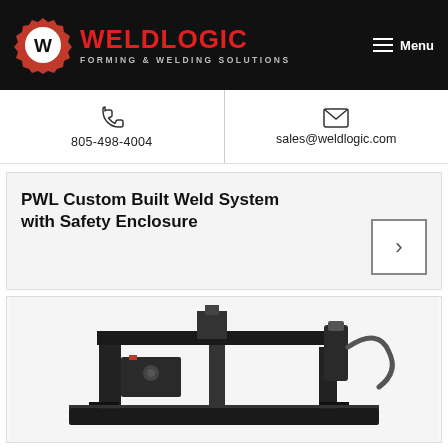WELDLOGIC FORMING & WELDING SOLUTIONS
805-498-4004
sales@weldlogic.com
PWL Custom Built Weld System with Safety Enclosure
[Figure (photo): Industrial welding machine / custom built weld system with mechanical components on white background]